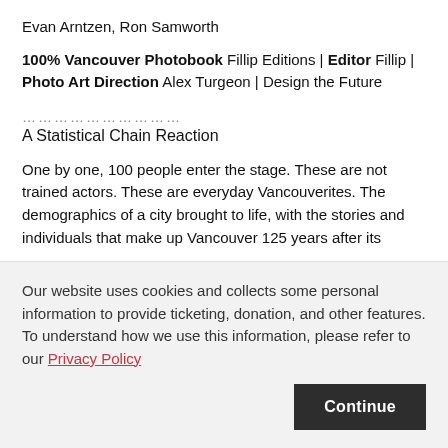Evan Arntzen, Ron Samworth
100% Vancouver Photobook Fillip Editions | Editor Fillip | Photo Art Direction Alex Turgeon | Design the Future
............................
A Statistical Chain Reaction
One by one, 100 people enter the stage. These are not trained actors. These are everyday Vancouverites. The demographics of a city brought to life, with the stories and individuals that make up Vancouver 125 years after its official incorporation...
Our website uses cookies and collects some personal information to provide ticketing, donation, and other features. To understand how we use this information, please refer to our Privacy Policy
Continue